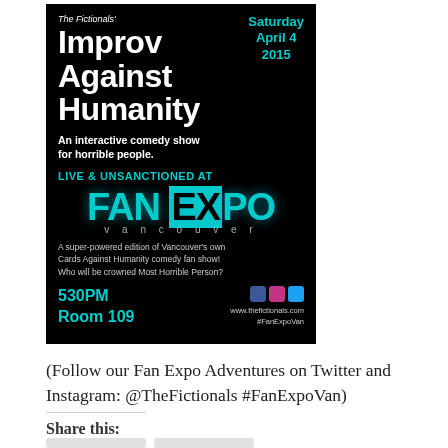[Figure (illustration): Event poster for 'The Fictionals' Improv Against Humanity' show at Fan Expo Vancouver, Saturday April 4 2015, 530PM Room 109. Black background with teal/cyan accent colors. Includes FAN EXPO logo, social media icons, and website www.thefictionals.com #FanExpoVan]
(Follow our Fan Expo Adventures on Twitter and Instagram: @TheFictionals #FanExpoVan)
Share this: